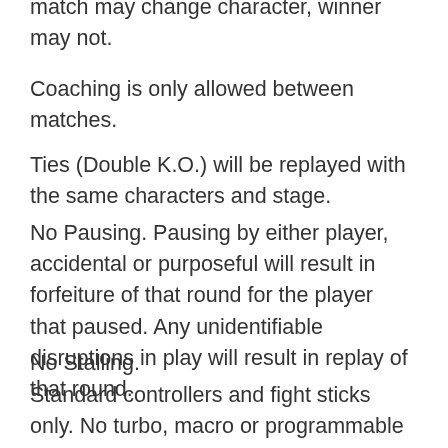match may change character, winner may not.
Coaching is only allowed between matches.
Ties (Double K.O.) will be replayed with the same characters and stage.
No Pausing. Pausing by either player, accidental or purposeful will result in forfeiture of that round for the player that paused. Any unidentifiable disruptions in play will result in replay of that round.
No Stalling.
Standard controllers and fight sticks only. No turbo, macro or programmable controllers.
Configure bindings before match. Only one button check per match.
No use of cheats or known glitches